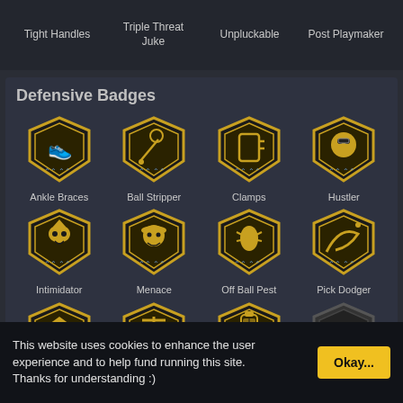Tight Handles
Triple Threat Juke
Unpluckable
Post Playmaker
Defensive Badges
[Figure (illustration): Ankle Braces badge icon - gold shield with shoe illustration]
Ankle Braces
[Figure (illustration): Ball Stripper badge icon - gold shield with ball and racket]
Ball Stripper
[Figure (illustration): Clamps badge icon - gold shield with clamp tool]
Clamps
[Figure (illustration): Hustler badge icon - gold shield with face wearing glasses]
Hustler
[Figure (illustration): Intimidator badge icon - gold shield with bird face]
Intimidator
[Figure (illustration): Menace badge icon - gold shield with top hat character]
Menace
[Figure (illustration): Off Ball Pest badge icon - gold shield with insect]
Off Ball Pest
[Figure (illustration): Pick Dodger badge icon - gold shield with road/path]
Pick Dodger
[Figure (illustration): Pick Pocket badge icon - gold shield with hand/bird]
Pick Pocket
[Figure (illustration): Pogo Stick badge icon - gold shield with hammer/cross]
Pogo Stick
[Figure (illustration): Tireless Defender badge icon - gold shield with battery]
Tireless Defender
[Figure (illustration): Box badge icon - dark shield with box/cube]
Box
This website uses cookies to enhance the user experience and to help fund running this site. Thanks for understanding :)